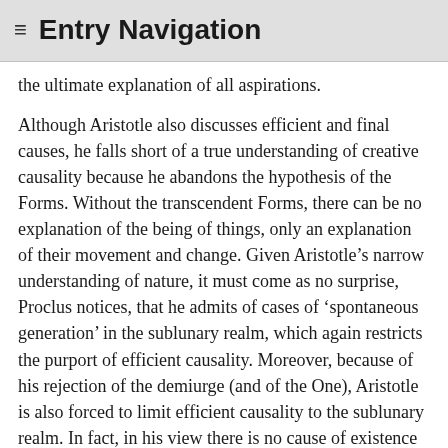≡  Entry Navigation
the ultimate explanation of all aspirations.
Although Aristotle also discusses efficient and final causes, he falls short of a true understanding of creative causality because he abandons the hypothesis of the Forms. Without the transcendent Forms, there can be no explanation of the being of things, only an explanation of their movement and change. Given Aristotle’s narrow understanding of nature, it must come as no surprise, Proclus notices, that he admits of cases of ‘spontaneous generation’ in the sublunary realm, which again restricts the purport of efficient causality. Moreover, because of his rejection of the demiurge (and of the One), Aristotle is also forced to limit efficient causality to the sublunary realm. In fact, in his view there is no cause of existence of the celestial bodies or of the sensible world as a whole: they exist necessarily in all eternity. But, as Proclus argues, such a position will force him to admit that the world has the capacity to constitute itself, which is absurd (see below).